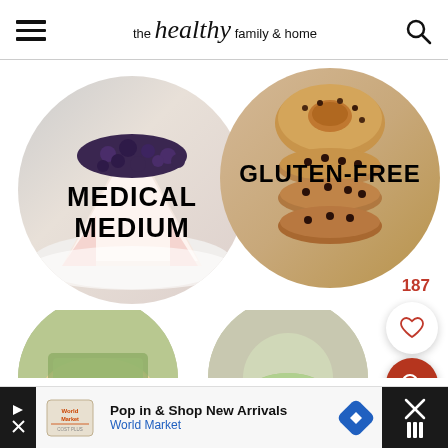the healthy family & home
[Figure (photo): Two circular food images: left circle shows a blueberry cheesecake slice on a white plate with text 'MEDICAL MEDIUM'; right circle shows stacked chocolate chip cookies and a donut with text 'GLUTEN-FREE']
187
[Figure (photo): Two partial circular food images at the bottom of the main content area]
Pop in & Shop New Arrivals
World Market